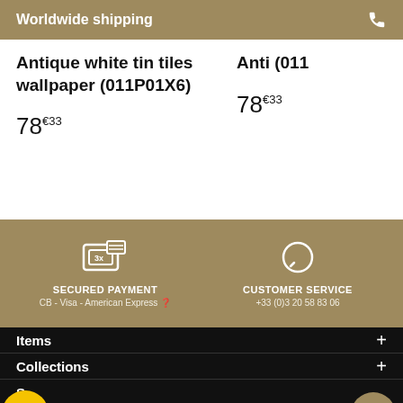Worldwide shipping
Antique white tin tiles wallpaper (011P01X6)
78€33
Anti... (011...
78€33
[Figure (infographic): Secured payment icon with 3x installment graphic]
SECURED PAYMENT
CB - Visa - American Express
[Figure (infographic): Customer service chat bubble icon]
CUSTOMER SERVICE
+33 (0)3 20 58 83 06
Items +
Collections +
S...
Blog